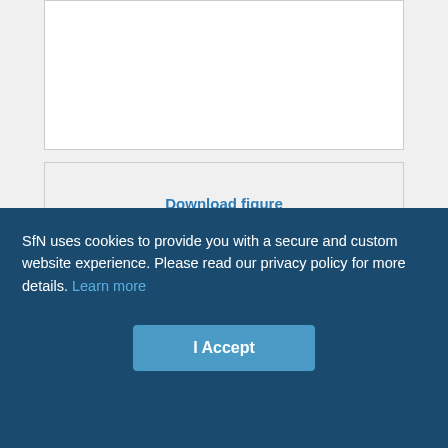[Figure (other): Cropped figure area (top portion of Fig. 7 chart, mostly white/blank at this scroll position)]
Download figure
Open in new tab
Download powerpoint
Fig. 7. Time course of the effects of P4 endocytosis block on GABAA-mediated mIPSCs. Normalized mIPSC amplitude plotted against time after break-in with an internal solution containing either 50 μM P4 (●) or 50 μMSP control (○). The amplitude of the mIPSCs was calculated by averaging individual
SfN uses cookies to provide you with a secure and custom website experience. Please read our privacy policy for more details. Learn more
I Accept